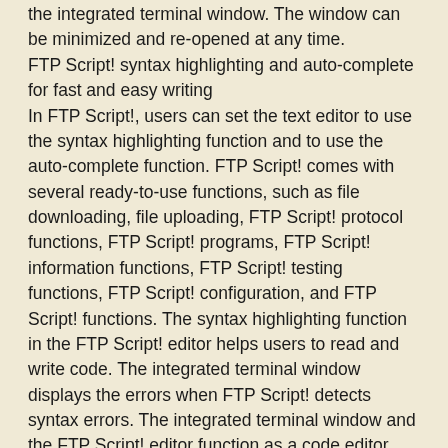the integrated terminal window. The window can be minimized and re-opened at any time.
FTP Script! syntax highlighting and auto-complete for fast and easy writing
In FTP Script!, users can set the text editor to use the syntax highlighting function and to use the auto-complete function. FTP Script! comes with several ready-to-use functions, such as file downloading, file uploading, FTP Script! protocol functions, FTP Script! programs, FTP Script! information functions, FTP Script! testing functions, FTP Script! configuration, and FTP Script! functions. The syntax highlighting function in the FTP Script! editor helps users to read and write code. The integrated terminal window displays the errors when FTP Script! detects syntax errors. The integrated terminal window and the FTP Script! editor function as a code editor.
FTP Script! has integrated support for FTP Script! protocols.
FTP Script!